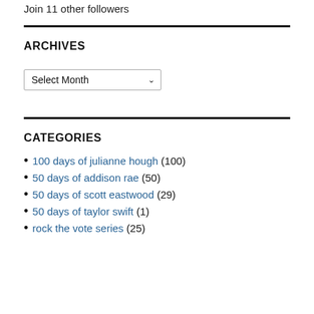Join 11 other followers
ARCHIVES
Select Month
CATEGORIES
100 days of julianne hough (100)
50 days of addison rae (50)
50 days of scott eastwood (29)
50 days of taylor swift (1)
rock the vote series (25)